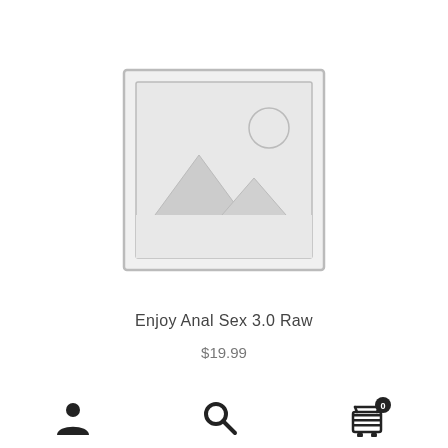[Figure (illustration): Placeholder product image: grey square frame with mountain/landscape silhouette and circle (sun) icon, indicating no product image available]
Enjoy Anal Sex 3.0 Raw
$19.99
[Figure (infographic): Bottom navigation bar with three icons: user/account icon on left, search magnifying glass icon in center, shopping cart icon with badge showing '0' on right]